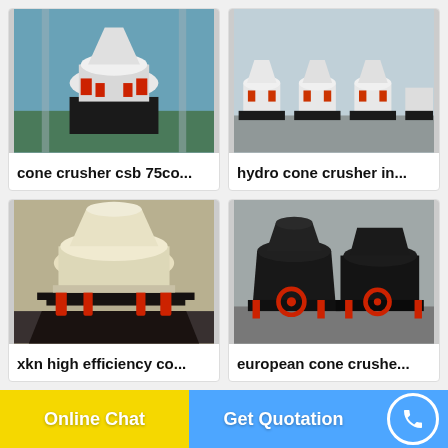[Figure (photo): Cone crusher CSB 75 machine in factory setting, white and red colored crusher on black base]
cone crusher csb 75co...
[Figure (photo): Hydro cone crusher machines in warehouse, multiple white and orange crushers lined up]
hydro cone crusher in...
[Figure (photo): XKN high efficiency cone crusher, cream/beige colored top with black base and red hydraulic cylinders]
xkn high efficiency co...
[Figure (photo): European cone crushers in factory, large black crushers with red accents lined up]
european cone crushe...
Online Chat
Get Quotation